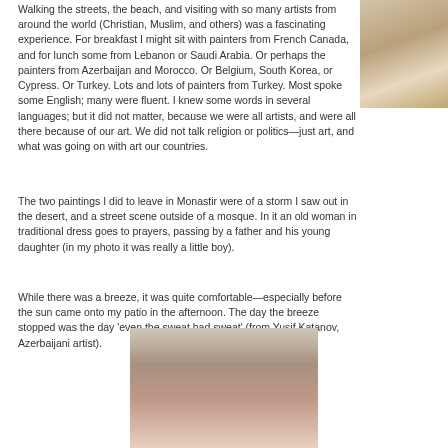Walking the streets, the beach, and visiting with so many artists from around the world (Christian, Muslim, and others) was a fascinating experience. For breakfast I might sit with painters from French Canada, and for lunch some from Lebanon or Saudi Arabia. Or perhaps the painters from Azerbaijan and Morocco. Or Belgium, South Korea, or Cypress. Or Turkey. Lots and lots of painters from Turkey. Most spoke some English; many were fluent. I knew some words in several languages; but it did not matter, because we were all artists, and were all there because of our art. We did not talk religion or politics—just art, and what was going on with art our countries.
[Figure (photo): Photo partially visible at top right corner, appears to show a wall or architectural detail with wooden element]
The two paintings I did to leave in Monastir were of a storm I saw out in the desert, and a street scene outside of a mosque. In it an old woman in traditional dress goes to prayers, passing by a father and his young daughter (in my photo it was really a little boy).
While there was a breeze, it was quite comfortable—especially before the sun came onto my patio in the afternoon. The day the breeze stopped was the day 'even the sweat had sweat' (from Yusif Katanov, Azerbaijani artist).
[Figure (photo): Photo of a person (woman with brown hair and white headband) looking upward, indoor setting with window visible in background]